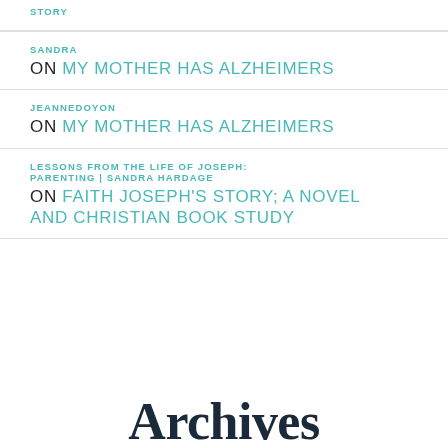STORY
SANDRA
ON MY MOTHER HAS ALZHEIMERS
JEANNEDOYON
ON MY MOTHER HAS ALZHEIMERS
LESSONS FROM THE LIFE OF JOSEPH: PARENTING | SANDRA HARDAGE
ON FAITH JOSEPH'S STORY; A NOVEL AND CHRISTIAN BOOK STUDY
Archives